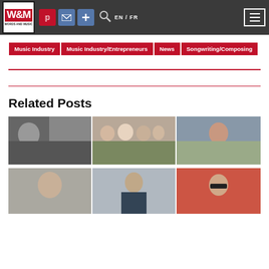W&M Words and Music - navigation bar with logo, Pinterest, mail, plus icons, search, EN/FR, and hamburger menu
Music Industry
Music Industry/Entrepreneurs
News
Songwriting/Composing
Related Posts
[Figure (photo): Collage of artist photos arranged in a grid - row 1: female artist, group of women, female artist; row 2: rock band group shot, another group shot outdoors]
[Figure (photo): Second collage row: female artist, male in suit, male with sunglasses]